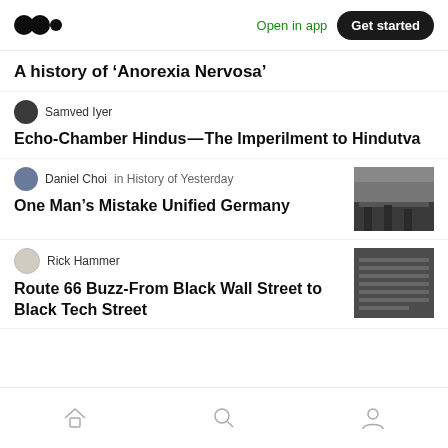Medium app header with logo, Open in app, Get started
A history of ‘Anorexia Nervosa’
Samved Iyer
Echo-Chamber Hindus — The Imperilment to Hindutva
Daniel Choi in History of Yesterday
One Man’s Mistake Unified Germany
Rick Hammer
Route 66 Buzz-From Black Wall Street to Black Tech Street
Home, Search, Profile navigation icons